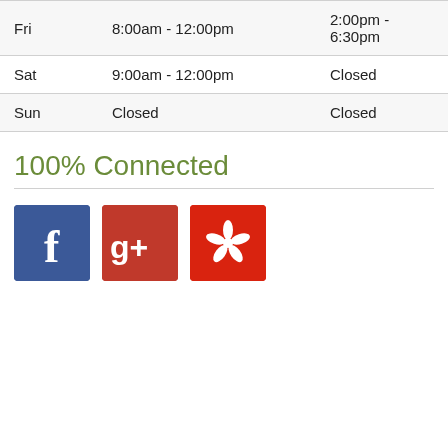| Day | Morning | Afternoon |
| --- | --- | --- |
| Fri | 8:00am - 12:00pm | 2:00pm - 6:30pm |
| Sat | 9:00am - 12:00pm | Closed |
| Sun | Closed | Closed |
100% Connected
[Figure (infographic): Three social media icon buttons: Facebook (blue), Google+ (red), Yelp (orange-red)]